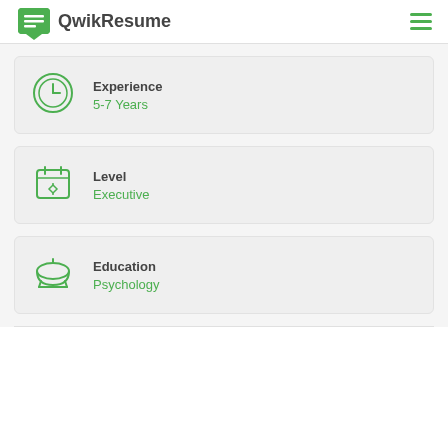QwikResume
Experience
5-7 Years
Level
Executive
Education
Psychology